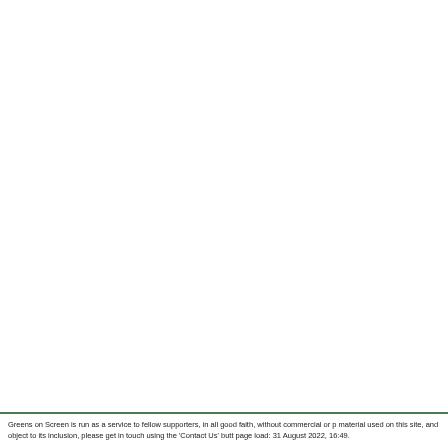Greens on Screen is run as a service to fellow supporters, in all good faith, without commercial or p material used on this site, and object to its inclusion, please get in touch using the 'Contact Us' butt page load: 31 August 2022, 16:49.